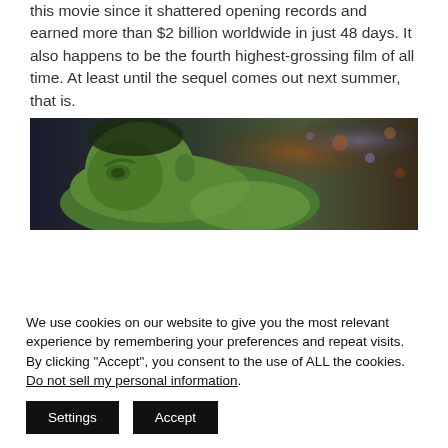this movie since it shattered opening records and earned more than $2 billion worldwide in just 48 days. It also happens to be the fourth highest-grossing film of all time. At least until the sequel comes out next summer, that is.
[Figure (photo): A green-skinned Hulk character lying down, looking downward, against a dark background with colorful bokeh lighting.]
We use cookies on our website to give you the most relevant experience by remembering your preferences and repeat visits. By clicking “Accept”, you consent to the use of ALL the cookies. Do not sell my personal information.